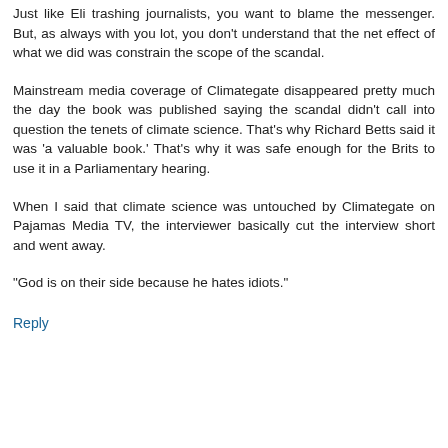Just like Eli trashing journalists, you want to blame the messenger. But, as always with you lot, you don't understand that the net effect of what we did was constrain the scope of the scandal.
Mainstream media coverage of Climategate disappeared pretty much the day the book was published saying the scandal didn't call into question the tenets of climate science. That's why Richard Betts said it was 'a valuable book.' That's why it was safe enough for the Brits to use it in a Parliamentary hearing.
When I said that climate science was untouched by Climategate on Pajamas Media TV, the interviewer basically cut the interview short and went away.
"God is on their side because he hates idiots."
Reply